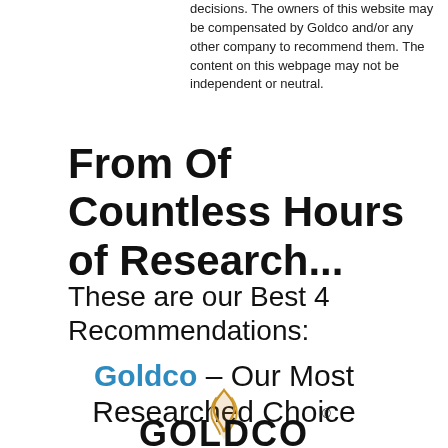decisions. The owners of this website may be compensated by Goldco and/or any other company to recommend them. The content on this webpage may not be independent or neutral.
From Of Countless Hours of Research...
These are our Best 4 Recommendations:
Goldco – Our Most Researched Choice
[Figure (logo): Goldco logo with golden flame/leaf icon above bold GOLDCO text with registered trademark symbol]